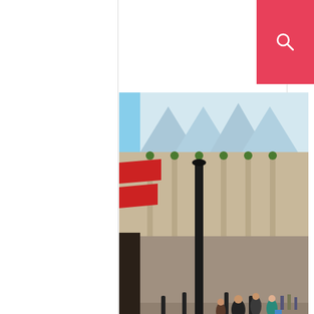[Figure (photo): Pink/red search button with magnifying glass icon in top right corner]
[Figure (photo): Street-level photograph of Covent Garden market in London, showing the Victorian glass and iron roof structure, red awnings, black lamp posts, hanging flower baskets, and pedestrians walking in the foreground under a blue sky]
A LONDON TOUR.
[Figure (photo): Photograph of a modernist concrete multi-storey building on the left with a wide cloudy sky, taken from street level in London]